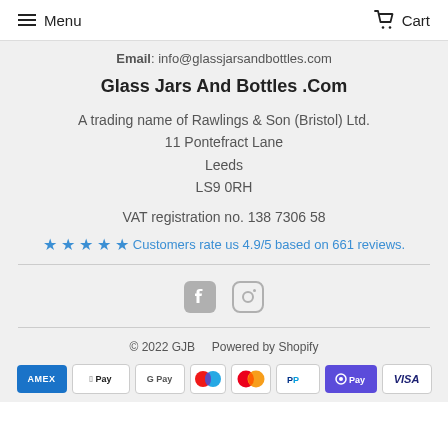Menu  Cart
Email: info@glassjarsandbottles.com
Glass Jars And Bottles .Com
A trading name of Rawlings & Son (Bristol) Ltd.
11 Pontefract Lane
Leeds
LS9 0RH
VAT registration no. 138 7306 58
Customers rate us 4.9/5 based on 661 reviews.
[Figure (other): Facebook and Instagram social media icons]
© 2022 GJB    Powered by Shopify
[Figure (other): Payment method badges: American Express, Apple Pay, Google Pay, Maestro, Mastercard, PayPal, Shop Pay, Visa]